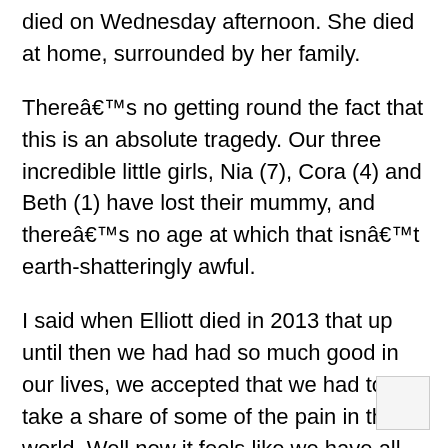died on Wednesday afternoon. She died at home, surrounded by her family.
Thereâ€™s no getting round the fact that this is an absolute tragedy. Our three incredible little girls, Nia (7), Cora (4) and Beth (1) have lost their mummy, and thereâ€™s no age at which that isnâ€™t earth-shatteringly awful.
I said when Elliott died in 2013 that up until then we had had so much good in our lives, we accepted that we had to take a share of some of the pain in the world. Well now it feels like we have all the pain in the world.
It's impossible to sum her up, but if you knew her, you would have felt the difference her kindness, generosity and determination could make. She was incredible and I loved her from